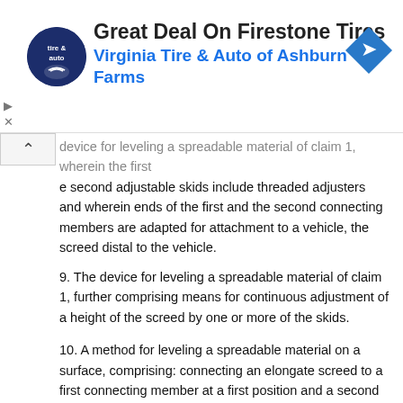[Figure (advertisement): Ad banner for Virginia Tire & Auto of Ashburn Farms promoting Great Deal On Firestone Tires, with circular logo and blue diamond arrow icon]
device for leveling a spreadable material of claim 1, wherein the first and second adjustable skids include threaded adjusters and wherein ends of the first and the second connecting members are adapted for attachment to a vehicle, the screed distal to the vehicle.
9. The device for leveling a spreadable material of claim 1, further comprising means for continuous adjustment of a height of the screed by one or more of the skids.
10. A method for leveling a spreadable material on a surface, comprising: connecting an elongate screed to a first connecting member at a first position and a second connecting member at a second position forming an assembly; at least partially supporting the assembly by connecting a first skid and a second skid to the screed, the first and the second skids offsetting the screed from the surface.
11. The method for leveling a spreadable material according to claim 10, wherein connecting the first and the second connecting members includes connecting ends of the first and the second connecting members to a